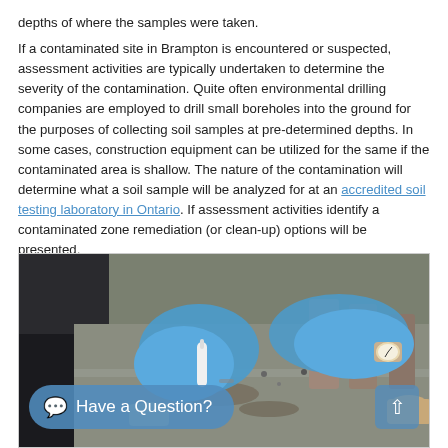depths of where the samples were taken.
If a contaminated site in Brampton is encountered or suspected, assessment activities are typically undertaken to determine the severity of the contamination. Quite often environmental drilling companies are employed to drill small boreholes into the ground for the purposes of collecting soil samples at pre-determined depths. In some cases, construction equipment can be utilized for the same if the contaminated area is shallow. The nature of the contamination will determine what a soil sample will be analyzed for at an accredited soil testing laboratory in Ontario. If assessment activities identify a contaminated zone remediation (or clean-up) options will be presented.
[Figure (photo): Photo of two hands wearing blue latex gloves handling soil sample tubes/cores on a work surface, with cylindrical soil sample containers visible. An overlay chat button reads 'Have a Question?' and a scroll-up arrow button appears in the bottom right.]